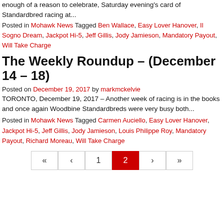enough of a reason to celebrate, Saturday evening's card of Standardbred racing at...
Posted in Mohawk News Tagged Ben Wallace, Easy Lover Hanover, Il Sogno Dream, Jackpot Hi-5, Jeff Gillis, Jody Jamieson, Mandatory Payout, Will Take Charge
The Weekly Roundup – (December 14 – 18)
Posted on December 19, 2017 by markmckelvie
TORONTO, December 19, 2017 – Another week of racing is in the books and once again Woodbine Standardbreds were very busy both...
Posted in Mohawk News Tagged Carmen Auciello, Easy Lover Hanover, Jackpot Hi-5, Jeff Gillis, Jody Jamieson, Louis Philippe Roy, Mandatory Payout, Richard Moreau, Will Take Charge
« ‹ 1 2 › »